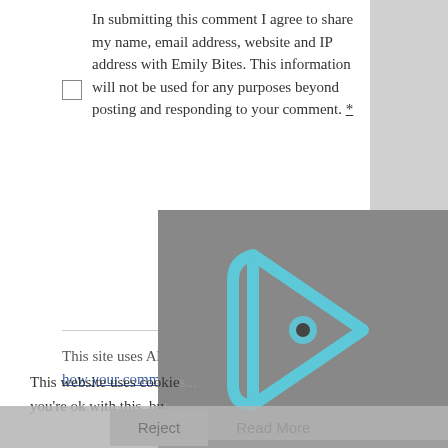In submitting this comment I agree to share my name, email address, website and IP address with Emily Bites. This information will not be used for any purposes beyond posting and responding to your comment. *
POST COMMENT
This site uses Akismet to reduce spam. Learn how your comment data is processed.
[Figure (screenshot): Video player overlay with cyan play button logo, showing 0:00 timestamp, progress bar, and controls on dark background]
This website uses cookie... you're ok with this, bu...
Reject   Read More